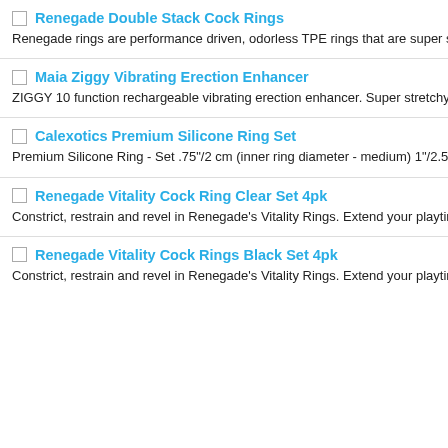Renegade Double Stack Cock Rings
Renegade rings are performance driven, odorless TPE rings that are super stretchy
Maia Ziggy Vibrating Erection Enhancer
ZIGGY 10 function rechargeable vibrating erection enhancer. Super stretchy for co
Calexotics Premium Silicone Ring Set
Premium Silicone Ring - Set .75"/2 cm (inner ring diameter - medium) 1"/2.5 cm (in
Renegade Vitality Cock Ring Clear Set 4pk
Constrict, restrain and revel in Renegade's Vitality Rings. Extend your playtime by e
Renegade Vitality Cock Rings Black Set 4pk
Constrict, restrain and revel in Renegade's Vitality Rings. Extend your playtime by e